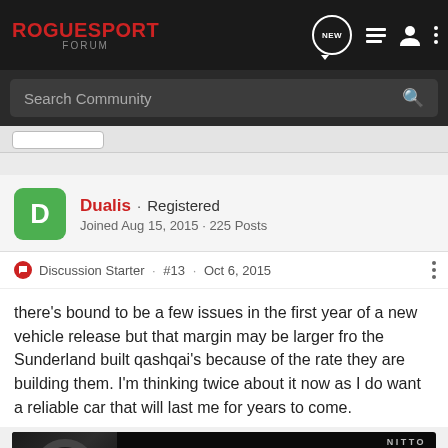RogueSport Forum
Search Community
Dualis · Registered
Joined Aug 15, 2015 · 225 Posts
Discussion Starter · #13 · Oct 6, 2015
there's bound to be a few issues in the first year of a new vehicle release but that margin may be larger fro the Sunderland built qashqai's because of the rate they are building them. I'm thinking twice about it now as I do want a reliable car that will last me for years to come.
[Figure (photo): Nitto All-New Nomad Grappler Crossover-Terrain Tire advertisement banner with tire image and truck]